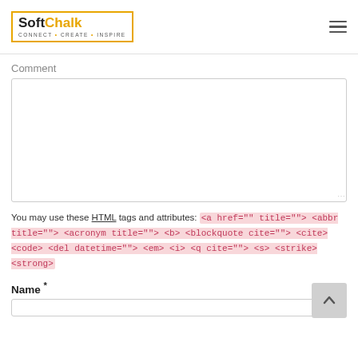SoftChalk CONNECT • CREATE • INSPIRE
Comment
You may use these HTML tags and attributes: <a href="" title=""> <abbr title=""> <acronym title=""> <b> <blockquote cite=""> <cite> <code> <del datetime=""> <em> <i> <q cite=""> <s> <strike> <strong>
Name *